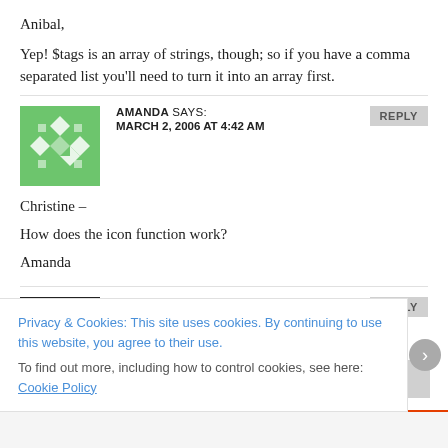Anibal,
Yep! $tags is an array of strings, though; so if you have a comma separated list you'll need to turn it into an array first.
AMANDA SAYS:
MARCH 2, 2006 AT 4:42 AM
Christine –

How does the icon function work?

Amanda
CHRISTINE DAVIS SAYS:
MARCH 2, 2006 AT 8:00 AM
Privacy & Cookies: This site uses cookies. By continuing to use this website, you agree to their use.
To find out more, including how to control cookies, see here: Cookie Policy
Close and accept